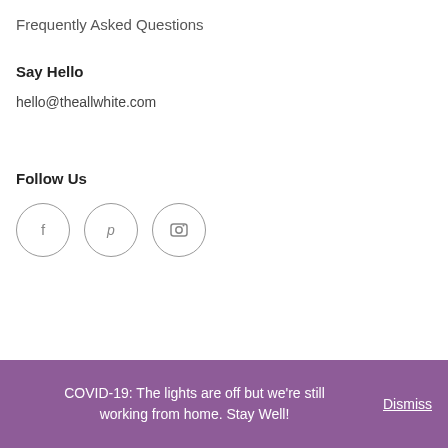Frequently Asked Questions
Say Hello
hello@theallwhite.com
Follow Us
[Figure (illustration): Three circular social media icons: Facebook (f), Pinterest (p), and Instagram (camera) arranged horizontally]
COVID-19: The lights are off but we're still working from home. Stay Well! Dismiss